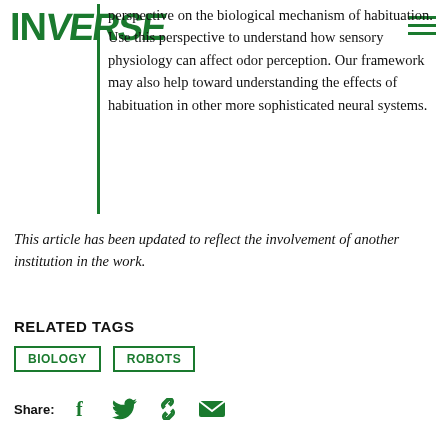INVERSE
perspective on the biological mechanism of habituation. Use this perspective to understand how sensory physiology can affect odor perception. Our framework may also help toward understanding the effects of habituation in other more sophisticated neural systems.
This article has been updated to reflect the involvement of another institution in the work.
RELATED TAGS
BIOLOGY
ROBOTS
Share: